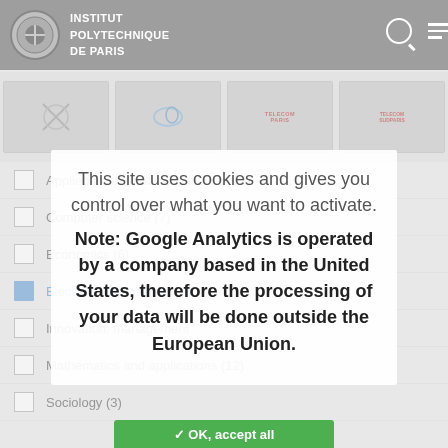[Figure (screenshot): Institut Polytechnique de Paris website header with logo and navigation icons]
[Figure (screenshot): Row of partner institution logos (Ecole Polytechnique, ENSTA, Telecom Paris, Telecom SudParis, etc.) shown greyed out in background]
Applied mathematics, statistics (12)
Computer science (7)
Economics (6)
Electrical engineering (5)
Innovation, management (?)
Mathematics and applications (12)
Sociology (3)
This site uses cookies and gives you control over what you want to activate.
Note: Google Analytics is operated by a company based in the United States, therefore the processing of your data will be done outside the European Union.
✓ OK, accept all